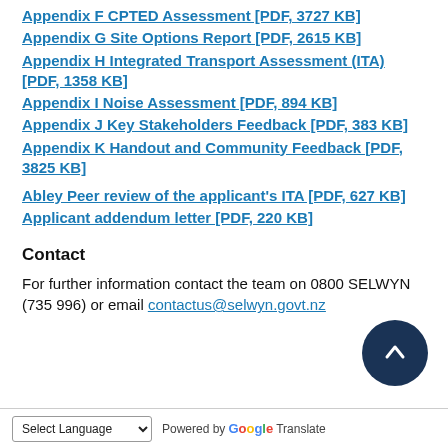Appendix F CPTED Assessment [PDF, 3727 KB]
Appendix G Site Options Report [PDF, 2615 KB]
Appendix H Integrated Transport Assessment (ITA) [PDF, 1358 KB]
Appendix I Noise Assessment [PDF, 894 KB]
Appendix J Key Stakeholders Feedback [PDF, 383 KB]
Appendix K Handout and Community Feedback [PDF, 3825 KB]
Abley Peer review of the applicant's ITA [PDF, 627 KB]
Applicant addendum letter [PDF, 220 KB]
Contact
For further information contact the team on 0800 SELWYN (735 996) or email contactus@selwyn.govt.nz
Select Language  Powered by Google Translate